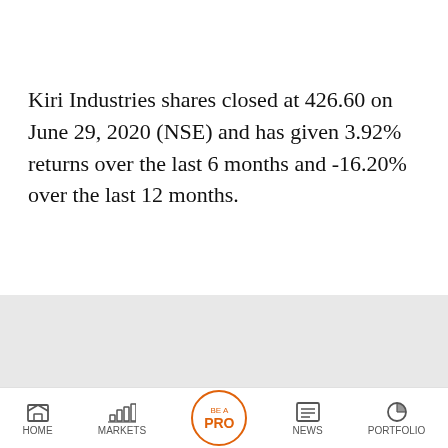Kiri Industries shares closed at 426.60 on June 29, 2020 (NSE) and has given 3.92% returns over the last 6 months and -16.20% over the last 12 months.
[Figure (screenshot): Partial screenshot of a financial app showing a grey section with 'KIRI INDUSTRIES' label in green, a news card for 'Kiri Industries Standalone March 2020...' and another news card for 'Tax exemption boosts luxury home sales']
HOME   MARKETS   BE A PRO   NEWS   PORTFOLIO